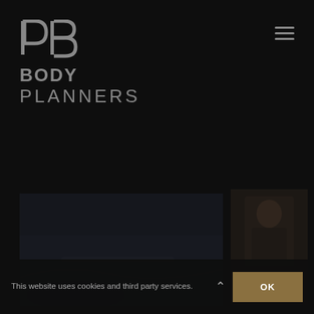[Figure (logo): Body Planners logo: stylized 'B' letterform above bold 'BODY' and lighter 'PLANNERS' text, grey on dark background]
[Figure (photo): Dark fitness/gym environment photo panel on the left, partially visible]
[Figure (photo): Dark fitness/gym environment photo panel on the right, partially visible with a figure]
This website uses cookies and third party services.
OK